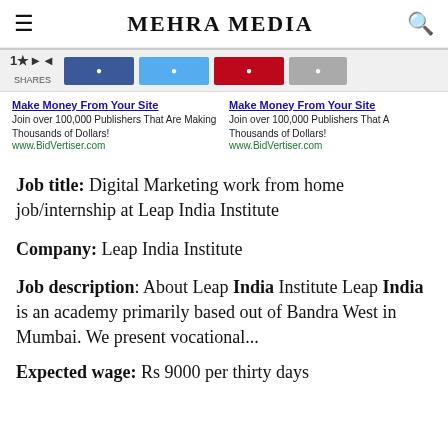Mehra Media
[Figure (screenshot): Social share bar with share count and Facebook, Twitter, Pinterest, and More buttons]
Make Money From Your Site
Join over 100,000 Publishers That Are Making Thousands of Dollars!
www.BidVertiser.com
Make Money From Your Site
Join over 100,000 Publishers That A Making Thousands of Dollars!
www.BidVertiser.com
Job title: Digital Marketing work from home job/internship at Leap India Institute
Company: Leap India Institute
Job description: About Leap India Institute Leap India is an academy primarily based out of Bandra West in Mumbai. We present vocational...
Expected wage: Rs 9000 per thirty days